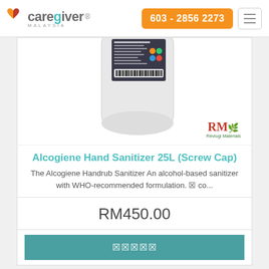[Figure (logo): Caregiver Malaysia logo with orange/red heart icon and teal colored 'g' letter]
603 - 2856 2273
[Figure (photo): Large 25L white plastic jug/container of Alcogiene Hand Sanitizer with label, Revlogi Materials brand badge in bottom right]
Alcogiene Hand Sanitizer 25L (Screw Cap)
The Alcogiene Handrub Sanitizer An alcohol-based sanitizer with WHO-recommended formulation. ▣ co...
RM450.00
▣▣▣▣▣